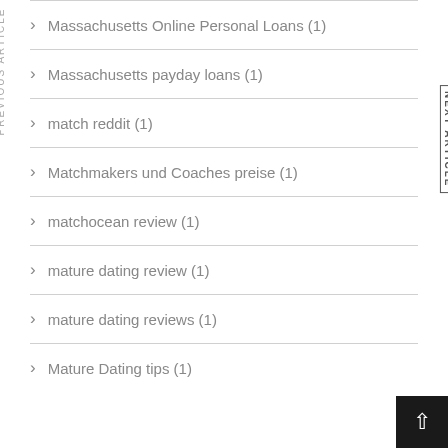Massachusetts Online Personal Loans (1)
Massachusetts payday loans (1)
match reddit (1)
Matchmakers und Coaches preise (1)
matchocean review (1)
mature dating review (1)
mature dating reviews (1)
Mature Dating tips (1)